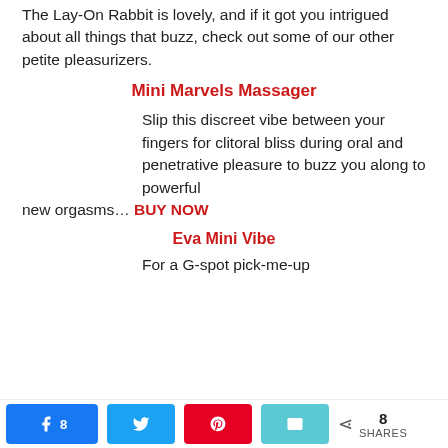The Lay-On Rabbit is lovely, and if it got you intrigued about all things that buzz, check out some of our other petite pleasurizers.
Mini Marvels Massager
Slip this discreet vibe between your fingers for clitoral bliss during oral and penetrative pleasure to buzz you along to powerful new orgasms... BUY NOW
Eva Mini Vibe
For a G-spot pick-me-up
[Figure (infographic): Social share bar at bottom with Facebook (8 shares), Twitter, Pinterest, Email buttons, and total share count of 8]